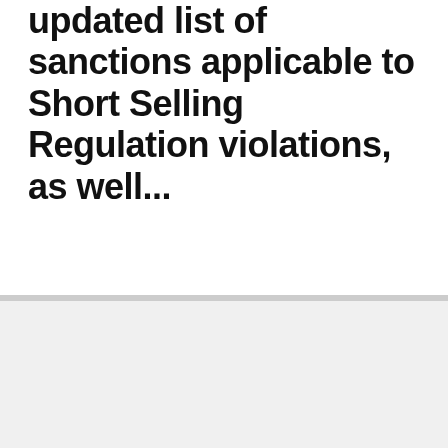updated list of sanctions applicable to Short Selling Regulation violations, as well...
We are using cookies to give you the best experience on our website.You can find out more about which cookies we are using or switch them off in settings.
Cookie settings
Accept